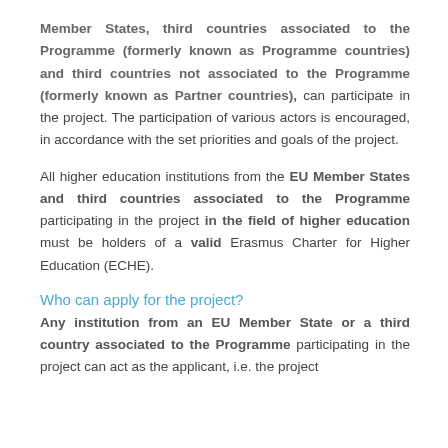Member States, third countries associated to the Programme (formerly known as Programme countries) and third countries not associated to the Programme (formerly known as Partner countries), can participate in the project. The participation of various actors is encouraged, in accordance with the set priorities and goals of the project.
All higher education institutions from the EU Member States and third countries associated to the Programme participating in the project in the field of higher education must be holders of a valid Erasmus Charter for Higher Education (ECHE).
Who can apply for the project?
Any institution from an EU Member State or a third country associated to the Programme participating in the project can act as the applicant, i.e. the project